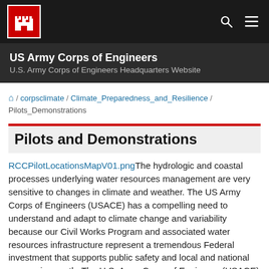[Figure (logo): US Army Corps of Engineers castle logo in white on red background, top navigation bar with search and menu icons]
US Army Corps of Engineers
U.S. Army Corps of Engineers Headquarters Website
⌂ / corpsclimate / Climate_Preparedness_and_Resilience / Pilots_Demonstrations
Pilots and Demonstrations
RCCPilotLocationsMapV01.pngThe hydrologic and coastal processes underlying water resources management are very sensitive to changes in climate and weather. The US Army Corps of Engineers (USACE) has a compelling need to understand and adapt to climate change and variability because our Civil Works Program and associated water resources infrastructure represent a tremendous Federal investment that supports public safety and local and national economic growth. The U.S. Army Corps of Engineers (USACE) is mainstreaming climate change